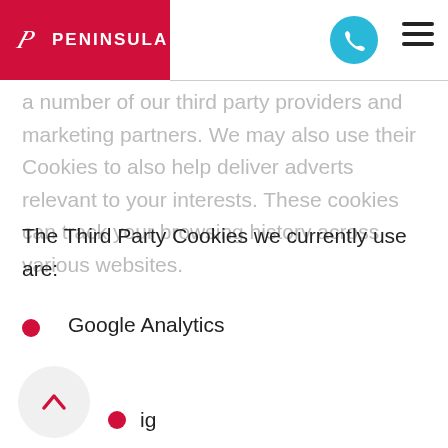PENINSULA
a number of our third party providers and marketing partners. We may also use their Cookies to also help deliver adverts relevant to your interests. These cookies can track your browsing history across various websites.
The Third Party Cookies we currently use are:
Google Analytics
ig